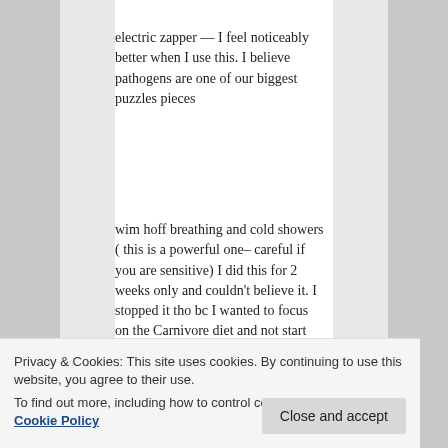electric zapper — I feel noticeably better when I use this. I believe pathogens are one of our biggest puzzles pieces
wim hoff breathing and cold showers ( this is a powerful one– careful if you are sensitive) I did this for 2 weeks only and couldn't believe it. I stopped it tho bc I wanted to focus on the Carnivore diet and not start too many things at once
You're a beautiful soul Esmee, and
Privacy & Cookies: This site uses cookies. By continuing to use this website, you agree to their use.
To find out more, including how to control cookies, see here: Cookie Policy